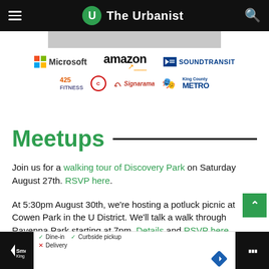The Urbanist
[Figure (logo): Sponsor logos: Microsoft, Amazon, SoundTransit, 425 Fitness, City of Redmond, Signarama, King County Metro]
Meetups
Join us for a walking tour of Discovery Park on Saturday August 27th. RSVP here.
At 5:30pm August 30th, we're hosting a potluck picnic at Cowen Park in the U District. We'll talk a walk through Ravenna Park starting at 7pm. Details and RSVP here.
[Figure (screenshot): Ad overlay at bottom: Smoothie King ad with dine-in/curbside pickup/delivery options and navigation icon]